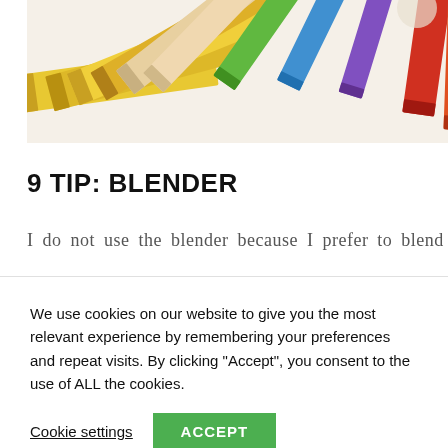[Figure (photo): Colored pencils arranged in a fan/circle pattern viewed from above, showing yellow, orange, red, green, blue and other colors radiating outward against a white background.]
9 TIP: BLENDER
I do not use the blender because I prefer to blend
We use cookies on our website to give you the most relevant experience by remembering your preferences and repeat visits. By clicking “Accept”, you consent to the use of ALL the cookies.
Cookie settings   ACCEPT